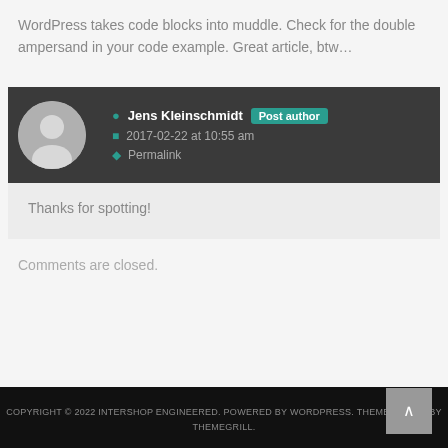WordPress takes code blocks into muddle. Check for the double ampersand in your code example. Great article, btw…
Jens Kleinschmidt  Post author
2017-02-22 at 10:55 am
Permalink
Thanks for spotting!
Comments are closed.
COPYRIGHT © 2022 INTERSHOP ENGINEERED. POWERED BY WORDPRESS. THEME: AMPLE BY THEMEGRILL.